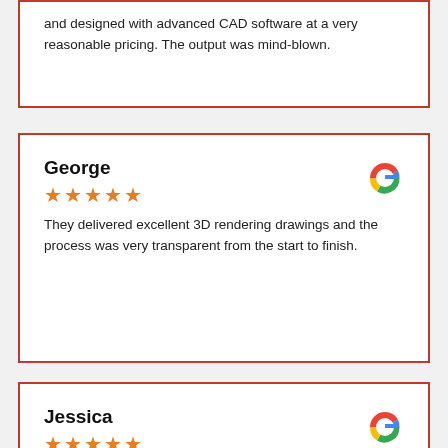and designed with advanced CAD software at a very reasonable pricing. The output was mind-blown.
George
★★★★★
They delivered excellent 3D rendering drawings and the process was very transparent from the start to finish.
Jessica
★★★★★
Very prompt in responding to all communications. Highly recommend and would certainly refer to all of my